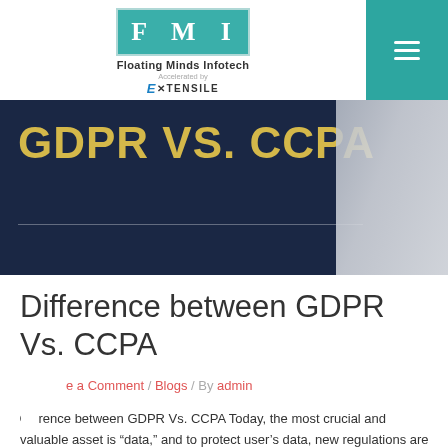Floating Minds Infotech - Accelerated by EXTENSILE
[Figure (illustration): Banner image with dark navy background showing 'GDPR VS. CCPA' text in bold yellow/gold uppercase letters, with a horizontal dividing line and a blurred image on the right side]
Difference between GDPR Vs. CCPA
e a Comment / Blogs / By admin
Difference between GDPR Vs. CCPA Today, the most crucial and valuable asset is “data,” and to protect user’s data, new regulations are being introduced like General Data Protection Regulation (GDPR) and Consumer Privacy Act (CCPA). These are the rules introduced to protect the user’s data. In this blog-post, we will have a glance at the GDPR …